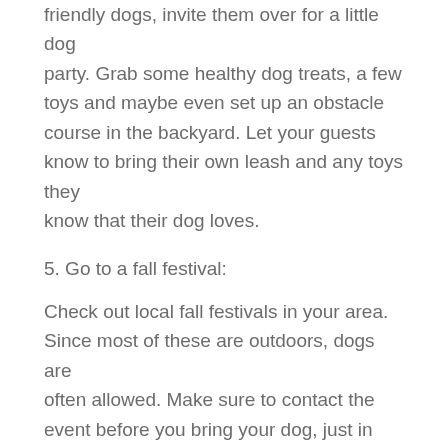friendly dogs, invite them over for a little dog party. Grab some healthy dog treats, a few toys and maybe even set up an obstacle course in the backyard. Let your guests know to bring their own leash and any toys they know that their dog loves.
5. Go to a fall festival:
Check out local fall festivals in your area. Since most of these are outdoors, dogs are often allowed. Make sure to contact the event before you bring your dog, just in case. Don't forget a water bowl and a few treats for them to enjoy too!